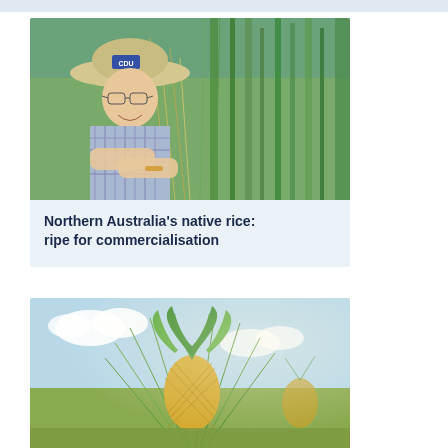[Figure (photo): Top blue-gray decorative strip at page top]
[Figure (photo): A researcher wearing a CDU hat and glasses examining native rice grass stalks in a field, smiling at camera]
Northern Australia's native rice: ripe for commercialisation
[Figure (photo): A pineapple plant with ripe pineapple fruit in a field, with bright sky in background]